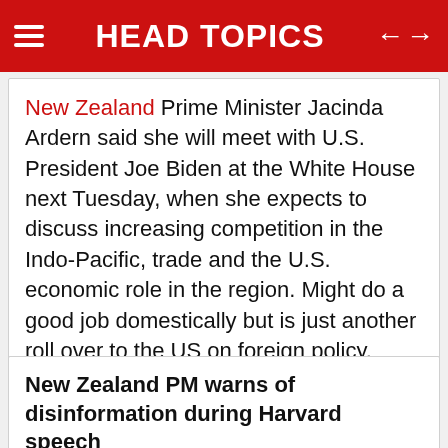HEAD TOPICS
New Zealand Prime Minister Jacinda Ardern said she will meet with U.S. President Joe Biden at the White House next Tuesday, when she expects to discuss increasing competition in the Indo-Pacific, trade and the U.S. economic role in the region. Might do a good job domestically but is just another roll over to the US on foreign policy. Something might change this time, but unlikely.
New Zealand PM warns of disinformation during Harvard speech
How disinformation can...